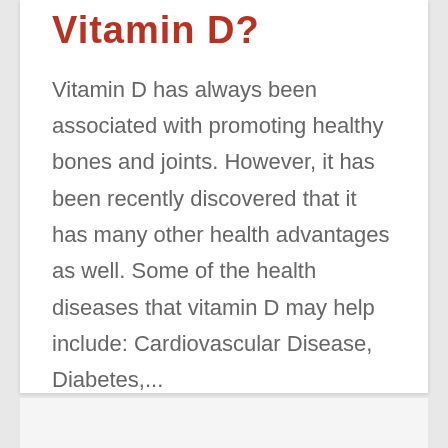Vitamin D?
Vitamin D has always been associated with promoting healthy bones and joints. However, it has been recently discovered that it has many other health advantages as well. Some of the health diseases that vitamin D may help include: Cardiovascular Disease, Diabetes,...
READ MORE ›